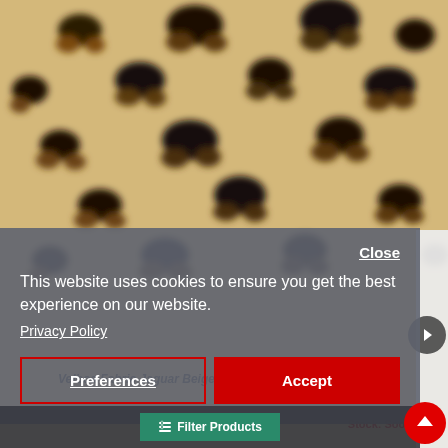[Figure (photo): Close-up blurred leopard/jaguar print fabric in beige, tan, and black tones filling the upper portion of the page.]
Close
This website uses cookies to ensure you get the best experience on our website.
Privacy Policy
Preferences
Accept
Velboa Fabric Jaguar Beige
Stock: Soon
Filter Products